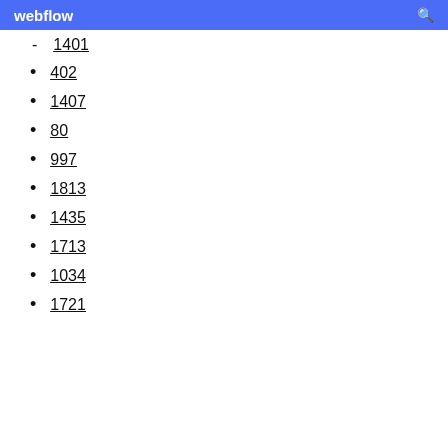webflow
1401
402
1407
80
997
1813
1435
1713
1034
1721